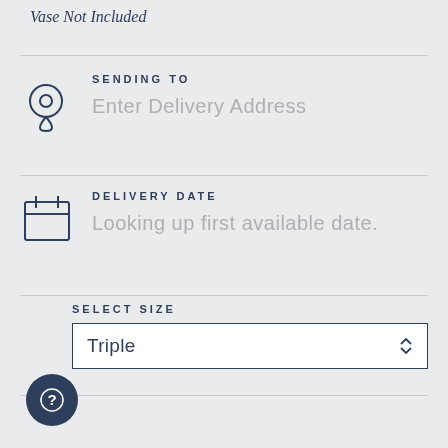Vase Not Included
SENDING TO
Enter Delivery Address
DELIVERY DATE
Looking up first available date.
SELECT SIZE
Triple